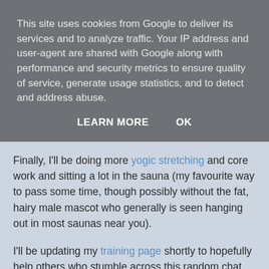This site uses cookies from Google to deliver its services and to analyze traffic. Your IP address and user-agent are shared with Google along with performance and security metrics to ensure quality of service, generate usage statistics, and to detect and address abuse.
LEARN MORE   OK
Finally, I'll be doing more yogic stretching and core work and sitting a lot in the sauna (my favourite way to pass some time, though possibly without the fat, hairy male mascot who generally is seen hanging out in most saunas near you).
I'll be updating my training page shortly to hopefully help others who stumble across this random chat about marathon des sables training. I'll also update it post race to tell you what worked and what did not.
To be honest, it's actually great fun doing all this. I just wish I could give up work for the next few months and concentrate on training for the marathon des sables only, but alas that